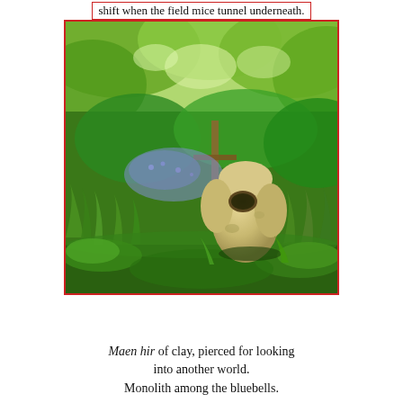shift when the field mice tunnel underneath.
[Figure (photo): Outdoor garden scene with lush green vegetation, wild grass, and a large rounded stone monolith (maen hir) with a hole through it, surrounded by bluebells and wild plants. Trees and a wooden fence post visible in the background. Photo has a red border.]
Maen hir of clay, pierced for looking into another world.
Monolith among the bluebells.